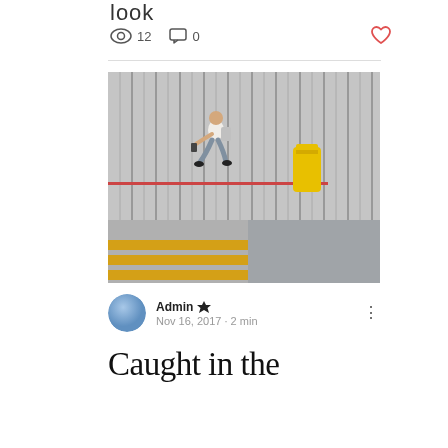look
👁 12   💬 0   ♡
[Figure (photo): A man in a white t-shirt with a grey backpack running across a pedestrian crossing (yellow zebra stripes) on a city sidewalk, with vertical grey metal panels as the background wall and a yellow cylindrical mailbox/post box mounted on the wall to the right]
Admin 👑
Nov 16, 2017 · 2 min
Caught in the